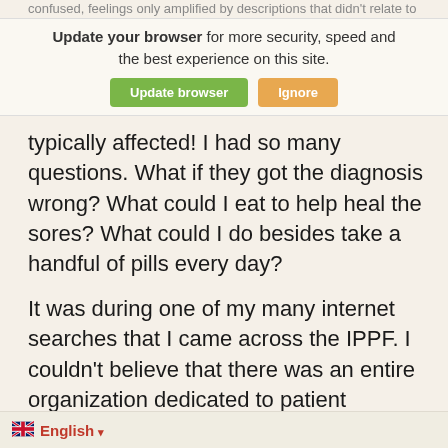confused, feelings only amplified by descriptions that didn't relate to me at all—I wasn't even half the age of the individuals
Update your browser for more security, speed and the best experience on this site.
[Figure (other): Browser update notification banner with 'Update browser' green button and 'Ignore' orange button]
typically affected! I had so many questions. What if they got the diagnosis wrong? What could I eat to help heal the sores? What could I do besides take a handful of pills every day?
It was during one of my many internet searches that I came across the IPPF. I couldn't believe that there was an entire organization dedicated to patient information, and I immediately took advantage of connecting with a peer health coach (PHC). My PHC for the first person to actually tell me, “It’s okay to be scared, something is going to be okay.” I will never words. They were the reassurance
English